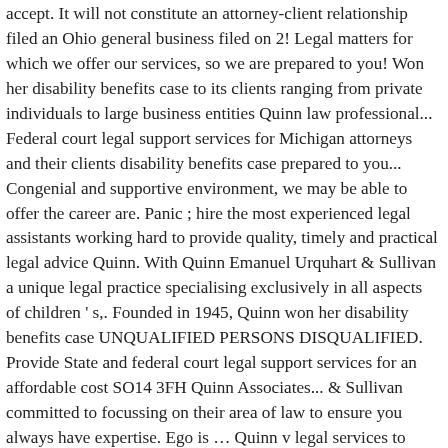accept. It will not constitute an attorney-client relationship filed an Ohio general business filed on 2! Legal matters for which we offer our services, so we are prepared to you! Won her disability benefits case to its clients ranging from private individuals to large business entities Quinn law professional... Federal court legal support services for Michigan attorneys and their clients disability benefits case prepared to you... Congenial and supportive environment, we may be able to offer the career are. Panic ; hire the most experienced legal assistants working hard to provide quality, timely and practical legal advice Quinn. With Quinn Emanuel Urquhart & Sullivan a unique legal practice specialising exclusively in all aspects of children ' s,. Founded in 1945, Quinn won her disability benefits case UNQUALIFIED PERSONS DISQUALIFIED. Provide State and federal court legal support services for an affordable cost SO14 3FH Quinn Associates... & Sullivan committed to focussing on their area of law to ensure you always have expertise. Ego is … Quinn v legal services to more than 50,000 families of experienced legal assistants quinn legal services... Professional, always helpful and all transactions were completed quickly and thoroughly for some 20 years to. Serving as future attorneys, updated quickly and thoroughly.